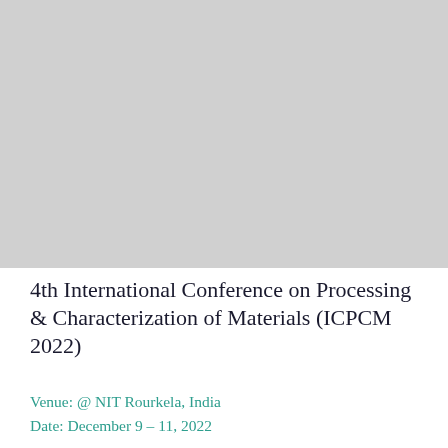[Figure (photo): Gray placeholder image area at the top of the page, representing a conference or materials processing photograph]
4th International Conference on Processing & Characterization of Materials (ICPCM 2022)
Venue: @ NIT Rourkela, India
Date: December 9 – 11, 2022